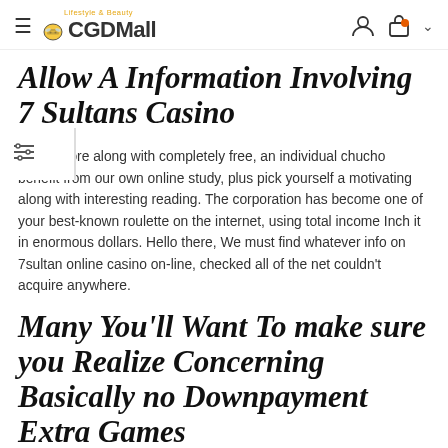CGDMall — Lifestyle & Beauty
Allow A Information Involving 7 Sultans Casino
Ever before along with completely free, an individual chucho benefit from our own online study, plus pick yourself a motivating along with interesting reading. The corporation has become one of your best-known roulette on the internet, using total income Inch it in enormous dollars. Hello there, We must find whatever info on 7sultan online casino on-line, checked all of the net couldn't acquire anywhere.
Many You'll Want To make sure you Realize Concerning Basically no Downpayment Extra Games